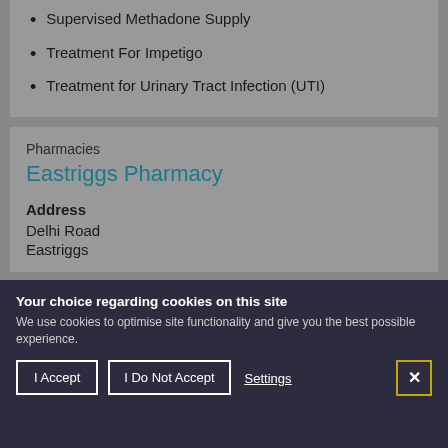Supervised Methadone Supply
Treatment For Impetigo
Treatment for Urinary Tract Infection (UTI)
Pharmacies
Eastriggs Pharmacy
Address
Delhi Road
Eastriggs
Your choice regarding cookies on this site
We use cookies to optimise site functionality and give you the best possible experience.
I Accept
I Do Not Accept
Settings